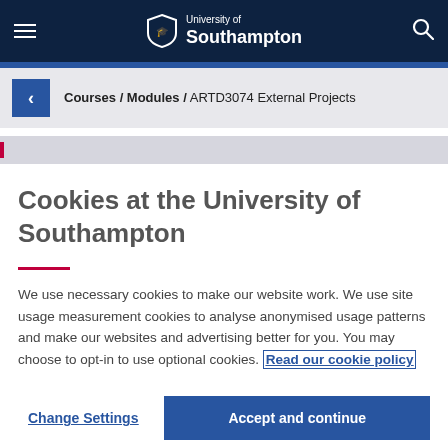University of Southampton — top navigation with hamburger menu and search icon
Courses / Modules / ARTD3074 External Projects
Cookies at the University of Southampton
We use necessary cookies to make our website work. We use site usage measurement cookies to analyse anonymised usage patterns and make our websites and advertising better for you. You may choose to opt-in to use optional cookies. Read our cookie policy
Change Settings
Accept and continue